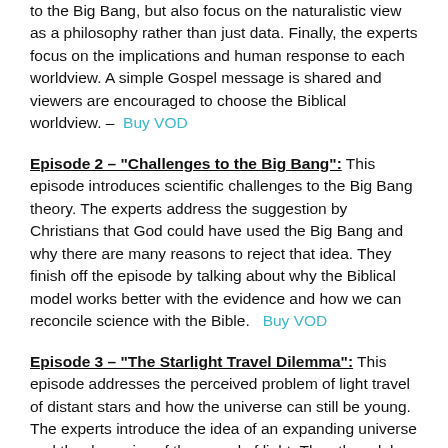to the Big Bang, but also focus on the naturalistic view as a philosophy rather than just data. Finally, the experts focus on the implications and human response to each worldview. A simple Gospel message is shared and viewers are encouraged to choose the Biblical worldview. – Buy VOD
Episode 2 – “Challenges to the Big Bang”: This episode introduces scientific challenges to the Big Bang theory. The experts address the suggestion by Christians that God could have used the Big Bang and why there are many reasons to reject that idea. They finish off the episode by talking about why the Biblical model works better with the evidence and how we can reconcile science with the Bible. Buy VOD
Episode 3 – “The Starlight Travel Dilemma”: This episode addresses the perceived problem of light travel of distant stars and how the universe can still be young. The experts introduce the idea of an expanding universe and the dynamics of the speed of light. They then delve into general relativity and present several creationist models for solving the light travel dilemma. Several experts also share how God could have used natural laws and supernatural processes during the creation week. Finally, there is a discussion on why the Biblical model is the only one that works with the evidence and makes science